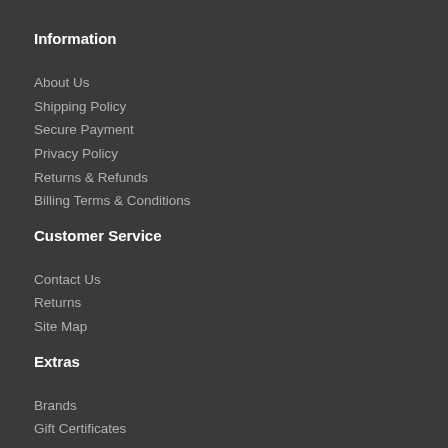Information
About Us
Shipping Policy
Secure Payment
Privacy Policy
Returns & Refunds
Billing Terms & Conditions
Customer Service
Contact Us
Returns
Site Map
Extras
Brands
Gift Certificates
Affiliate
Specials
My Account
My Account